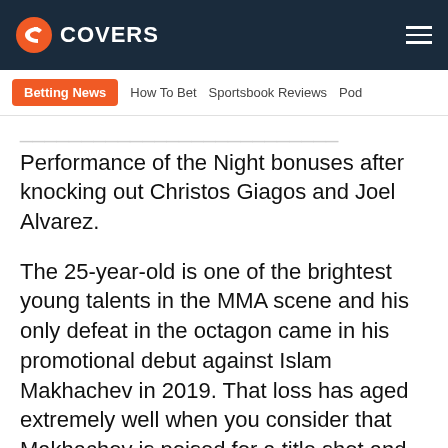[Figure (logo): Covers.com logo with orange C icon and white COVERS text on dark navy header bar]
Betting News | How To Bet | Sportsbook Reviews | Pod
Performance of the Night bonuses after knocking out Christos Giagos and Joel Alvarez.
The 25-year-old is one of the brightest young talents in the MMA scene and his only defeat in the octagon came in his promotional debut against Islam Makhachev in 2019. That loss has aged extremely well when you consider that Makhachev is poised for a title shot and that Tsarukyan was able to go the distance and earn a Fight of the Night bonus for his efforts.